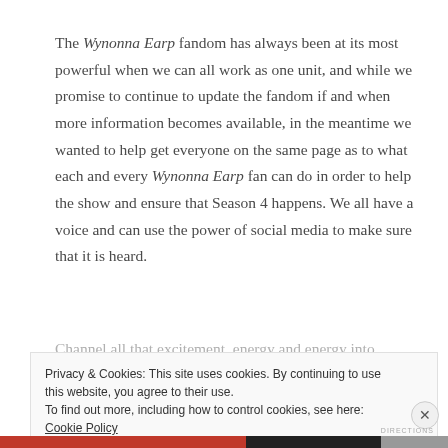The Wynonna Earp fandom has always been at its most powerful when we can all work as one unit, and while we promise to continue to update the fandom if and when more information becomes available, in the meantime we wanted to help get everyone on the same page as to what each and every Wynonna Earp fan can do in order to help the show and ensure that Season 4 happens. We all have a voice and can use the power of social media to make sure that it is heard.
Channel all that excitement, energy and energy into
Privacy & Cookies: This site uses cookies. By continuing to use this website, you agree to their use.
To find out more, including how to control cookies, see here: Cookie Policy

Close and accept